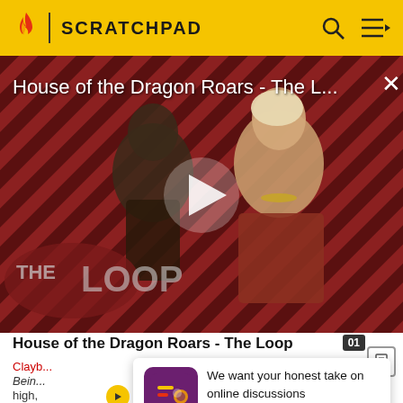SCRATCHPAD
[Figure (screenshot): Video thumbnail for House of the Dragon Roars - The Loop, showing two characters against a red diagonal stripe background with a play button overlay and THE LOOP logo at the bottom left]
House of the Dragon Roars - The Loop
We want your honest take on online discussions
SURVEY: ONLINE FORUMS